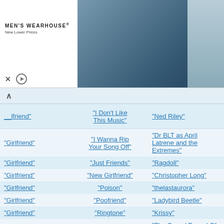[Figure (photo): Men's Wearhouse advertisement banner showing a couple in formalwear and a man in a suit, with INFO button]
| Episode | Song | Artist |
| --- | --- | --- |
| "Girlfriend" | "I Don't Like This Music" | "Ned Riley" |
| "Girlfriend" | "I Wanna Rip Your Song Off" | "Dr BLT as April Latrene and the Extremes" |
| "Girlfriend" | "Just Friends" | "Ragdoll" |
| "Girlfriend" | "New Girlfriend" | "Christopher Long" |
| "Girlfriend" | "Poison" | "thelastaurora" |
| "Girlfriend" | "Poofriend" | "Ladybird Beetle" |
| "Girlfriend" | "Ringtone" | "Krissy" |
| "Girlfriend" | "School" | "The Carpal Tunnel Of Love" |
| "Girlfriend" | "Stalker Friend (2013 Redux)" | "Matthias" |